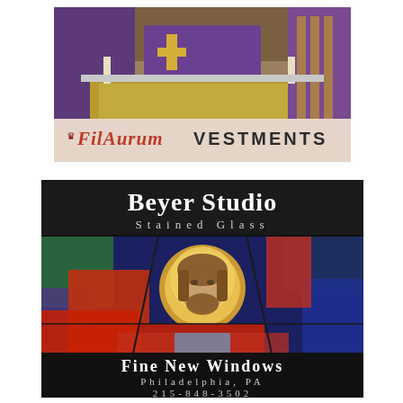[Figure (photo): FilAurum Vestments advertisement showing a church altar with purple and gold vestments, with an overlay banner reading FilAurum VESTMENTS]
[Figure (photo): Beyer Studio Stained Glass advertisement with a stained glass image of Jesus Christ, advertising Fine New Windows in Philadelphia, PA, phone 215-848-3502]